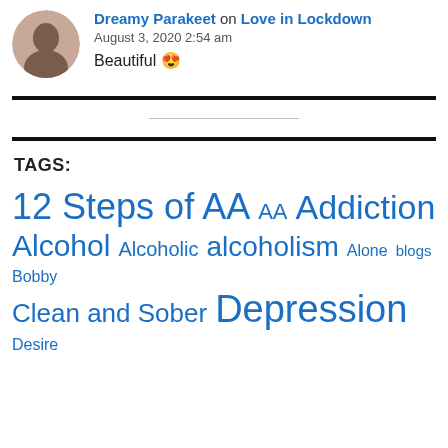Dreamy Parakeet on Love in Lockdown
August 3, 2020 2:54 am
Beautiful 😍
TAGS:
12 Steps of AA  AA  Addiction  Alcohol  Alcoholic  alcoholism  Alone  blogs  Bobby  Clean and Sober  Depression  Desire